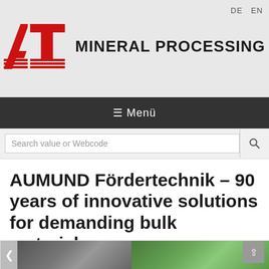DE  EN
[Figure (logo): AT Mineral Processing logo — red stylized AT letters with horizontal stripe lines, followed by bold text MINERAL PROCESSING]
≡ Menü
Search value or Webcode
AUMUND Fördertechnik – 90 years of innovative solutions for demanding bulk materials
[Figure (photo): Two photos side by side: left is a black-and-white portrait photo of a man in a suit, right is an aerial color photograph of green fields and countryside]